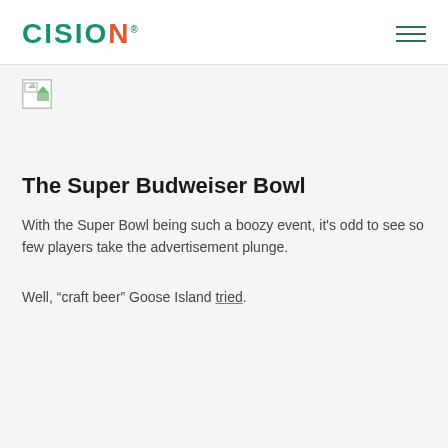CISION
[Figure (illustration): Broken/placeholder image thumbnail in top-left of content area]
The Super Budweiser Bowl
With the Super Bowl being such a boozy event, it's odd to see so few players take the advertisement plunge.
Well, “craft beer” Goose Island tried.